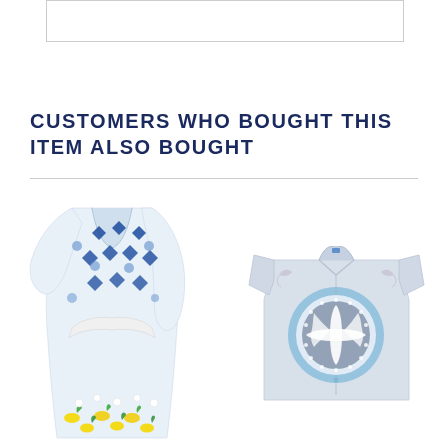[Figure (other): Partial product image at top of page, cropped rectangle]
CUSTOMERS WHO BOUGHT THIS ITEM ALSO BOUGHT
[Figure (photo): Blue and white geometric patterned dress/kimono with lemon print at hem]
[Figure (photo): Light blue short-sleeve button-up shirt with circular medallion tile print design]